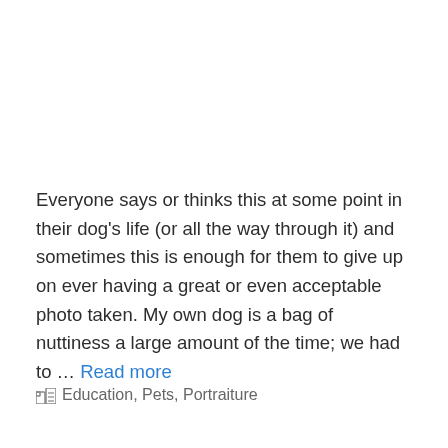Everyone says or thinks this at some point in their dog's life (or all the way through it) and sometimes this is enough for them to give up on ever having a great or even acceptable photo taken. My own dog is a bag of nuttiness a large amount of the time; we had to … Read more
Education, Pets, Portraiture